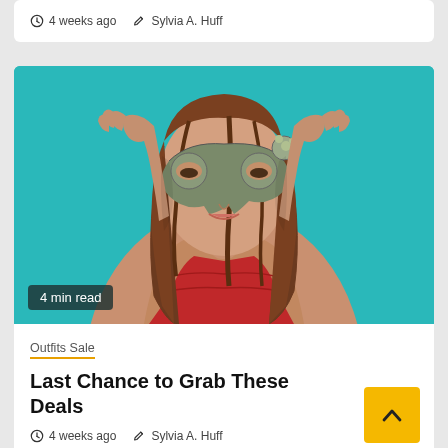4 weeks ago  Sylvia A. Huff
[Figure (photo): Woman in red top wearing an ornate masquerade mask, posed against a teal/turquoise background. She has long brown hair and her hands are raised near her face. A '4 min read' badge overlays the bottom-left corner.]
4 min read
Outfits Sale
Last Chance to Grab These Deals
4 weeks ago  Sylvia A. Huff